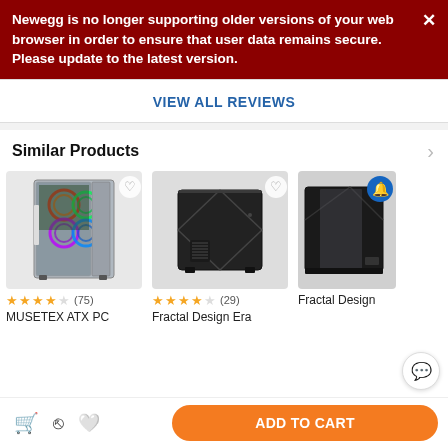Newegg is no longer supporting older versions of your web browser in order to ensure that user data remains secure. Please update to the latest version.
VIEW ALL REVIEWS
Similar Products
[Figure (photo): MUSETEX ATX PC case with RGB fans and tempered glass panel, silver/black, 4.5 stars (75 reviews)]
[Figure (photo): Fractal Design Era small form factor PC case, black, 4.5 stars (29 reviews)]
[Figure (photo): Fractal Design PC case, black with tempered glass]
MUSETEX ATX PC
Fractal Design Era
Fractal Design
ADD TO CART